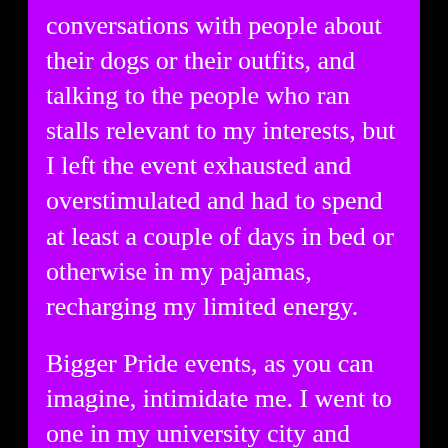conversations with people about their dogs or their outfits, and talking to the people who ran stalls relevant to my interests, but I left the event exhausted and overstimulated and had to spend at least a couple of days in bed or otherwise in my pajamas, recharging my limited energy.

Bigger Pride events, as you can imagine, intimidate me. I went to one in my university city and found it so challenging that I slipped away on more than one occasion to the outskirts of the event, taking deep breaths and chewing on free sweets obtained from